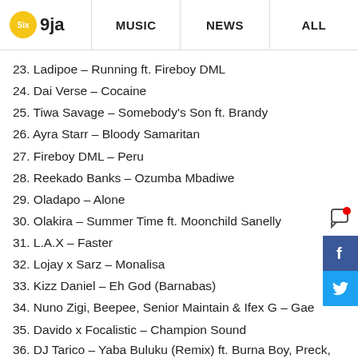Six9ja  MUSIC  NEWS  ALL
23. Ladipoe – Running ft. Fireboy DML
24. Dai Verse – Cocaine
25. Tiwa Savage – Somebody's Son ft. Brandy
26. Ayra Starr – Bloody Samaritan
27. Fireboy DML – Peru
28. Reekado Banks – Ozumba Mbadiwe
29. Oladapo – Alone
30. Olakira – Summer Time ft. Moonchild Sanelly
31. L.A.X – Faster
32. Lojay x Sarz – Monalisa
33. Kizz Daniel – Eh God (Barnabas)
34. Nuno Zigi, Beepee, Senior Maintain & Ifex G – Gae
35. Davido x Focalistic – Champion Sound
36. DJ Tarico – Yaba Buluku (Remix) ft. Burna Boy, Preck, Nelson Tivane
37. Sarz – Sounds From The Other Side
38. Adekunle Gold – High ft. Davido